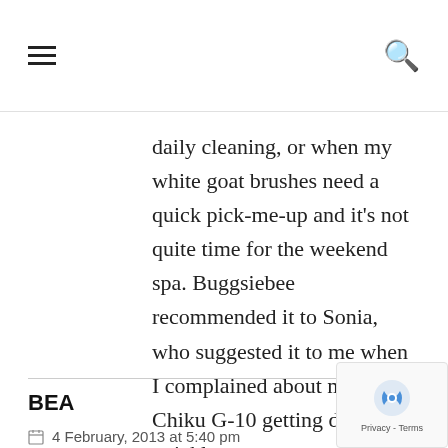daily cleaning, or when my white goat brushes need a quick pick-me-up and it’s not quite time for the weekend spa. Buggsiebee recommended it to Sonia, who suggested it to me when I complained about my Chiku G-10 getting dirty quickly.
BEA
REPLY
4 February, 2013 at 5:40 pm